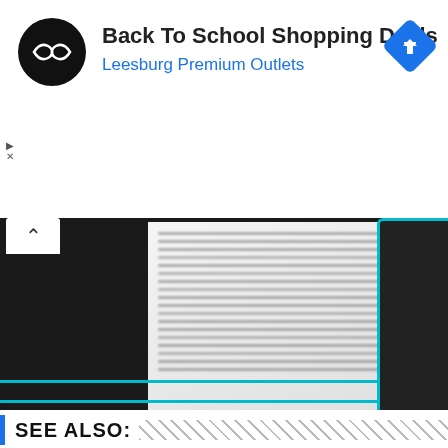[Figure (screenshot): Advertisement banner for 'Back To School Shopping Deals' at Leesburg Premium Outlets, showing a circular black logo with a double-arrow symbol, bold title text, blue subtitle, and a blue diamond navigation arrow icon on the right.]
[Figure (photo): Close-up photo of open book pages with dense text, blurred perspective view, placed against dark/black background with a right-side dark panel bordered in cyan/blue.]
SEE ALSO: